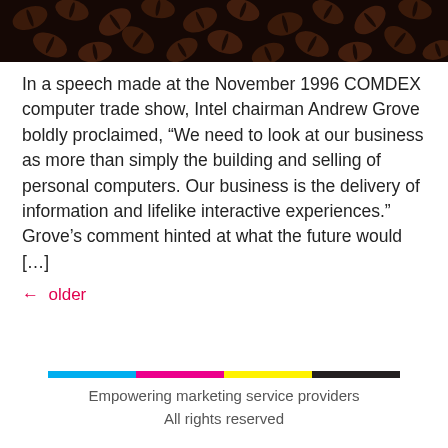[Figure (photo): Close-up photograph of dark roasted coffee beans filling the frame, dark brown tones on black background]
In a speech made at the November 1996 COMDEX computer trade show, Intel chairman Andrew Grove boldly proclaimed, “We need to look at our business as more than simply the building and selling of personal computers. Our business is the delivery of information and lifelike interactive experiences.” Grove’s comment hinted at what the future would […]
← older
[Figure (other): CMYK color bar: four horizontal colored rectangles in cyan, magenta, yellow, and black]
Empowering marketing service providers
All rights reserved